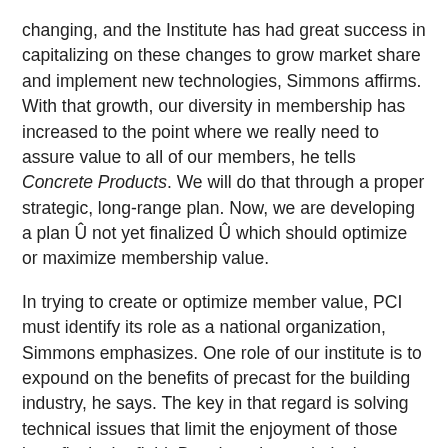changing, and the Institute has had great success in capitalizing on these changes to grow market share and implement new technologies, Simmons affirms. With that growth, our diversity in membership has increased to the point where we really need to assure value to all of our members, he tells Concrete Products. We will do that through a proper strategic, long-range plan. Now, we are developing a plan Û not yet finalized Û which should optimize or maximize membership value.
In trying to create or optimize member value, PCI must identify its role as a national organization, Simmons emphasizes. One role of our institute is to expound on the benefits of precast for the building industry, he says. The key in that regard is solving technical issues that limit the enjoyment of those benefits in the field. By advancing technical solutions via research and development, we support our members and the increased use of precast.
Additionally, high-level educational opportunities are necessary